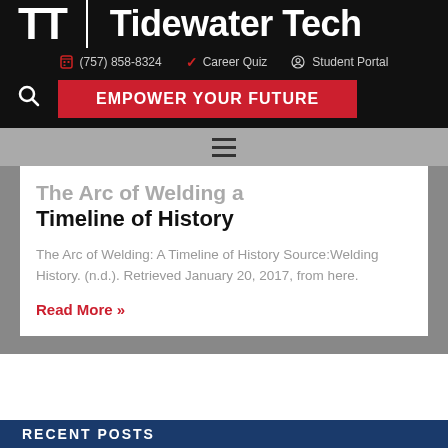Tidewater Tech
(757) 858-8324  Career Quiz  Student Portal
EMPOWER YOUR FUTURE
The Arc of Welding a Timeline of History
The Arc of Welding: A Timeline of History Source:Welding History. (n.d.). Retrieved January 20, 2017, from here.
Read More »
RECENT POSTS